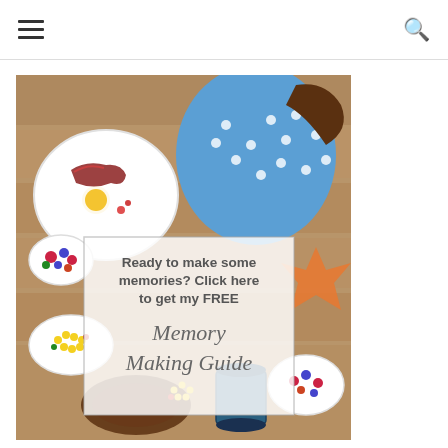≡ 🔍
[Figure (photo): Overhead view of a breakfast/brunch table with various dishes including eggs, fruit, bacon, and corn, with a child in a blue polka-dot dress visible from above. An overlay box reads: 'Ready to make some memories? Click here to get my FREE Memory Making Guide']